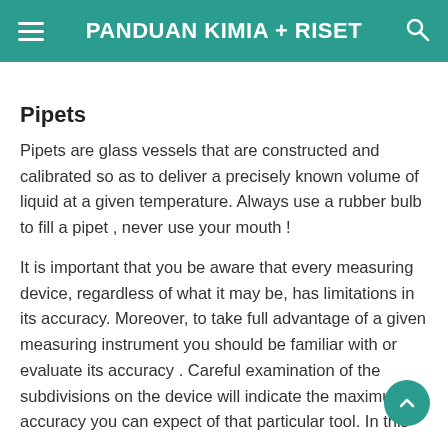PANDUAN KIMIA + RISET
Pipets
Pipets are glass vessels that are constructed and calibrated so as to deliver a precisely known volume of liquid at a given temperature. Always use a rubber bulb to fill a pipet , never use your mouth !
It is important that you be aware that every measuring device, regardless of what it may be, has limitations in its accuracy. Moreover, to take full advantage of a given measuring instrument you should be familiar with or evaluate its accuracy . Careful examination of the subdivisions on the device will indicate the maximum accuracy you can expect of that particular tool. In this